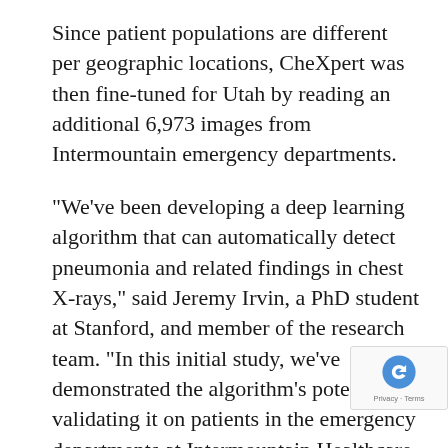Since patient populations are different per geographic locations, CheXpert was then fine-tuned for Utah by reading an additional 6,973 images from Intermountain emergency departments.
"We've been developing a deep learning algorithm that can automatically detect pneumonia and related findings in chest X-rays," said Jeremy Irvin, a PhD student at Stanford, and member of the research team. "In this initial study, we've demonstrated the algorithm's potential by validating it on patients in the emergency departments at Intermountain Healthcare. Our hope is that the algorithm can improve the quality of pneumonia care.